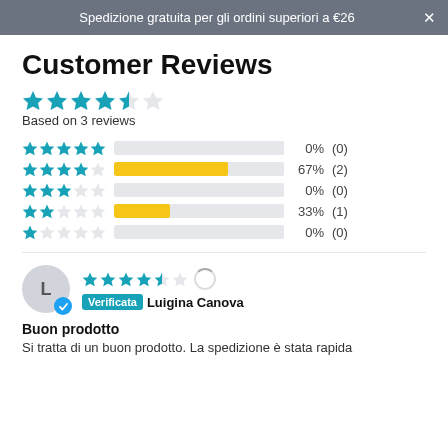Spedizione gratuita per gli ordini superiori a €26  ×
Customer Reviews
Based on 3 reviews
[Figure (bar-chart): Rating distribution]
Verificata  Luigina Canova
Buon prodotto
Si tratta di un buon prodotto. La spedizione è stata rapida